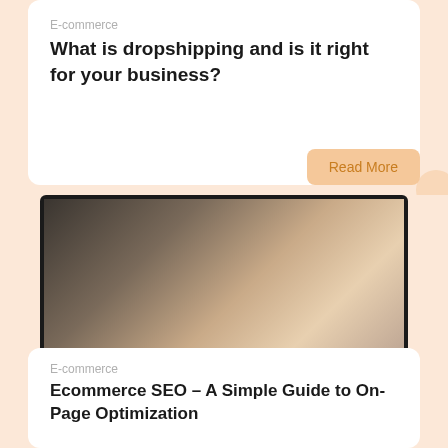E-commerce
What is dropshipping and is it right for your business?
Read More
[Figure (photo): Laptop screen showing a person writing in a notebook, with a laptop keyboard visible on a desk, photographed from above. Below the laptop image is large italic text reading 'E-commerce SEO - a simple guide to on-page optimization']
E-commerce
Ecommerce SEO – A Simple Guide to On-Page Optimization